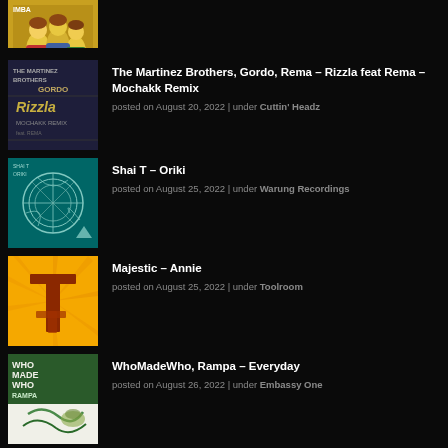[Figure (photo): Partially visible album art at top of page – colorful vintage illustration]
The Martinez Brothers, Gordo, Rema – Rizzla feat Rema – Mochakk Remix
posted on August 20, 2022 | under Cuttin' Headz
Shai T – Oriki
posted on August 25, 2022 | under Warung Recordings
Majestic – Annie
posted on August 25, 2022 | under Toolroom
WhoMadeWho, Rampa – Everyday
posted on August 26, 2022 | under Embassy One
Dusky – Endless Sky
posted on August 23, 2022 | under 17 Steps